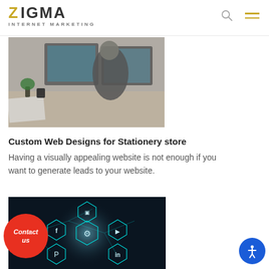[Figure (logo): Zigma Internet Marketing logo with gold Z and grey IGMA text, subtitle INTERNET MARKETING]
[Figure (photo): Person standing at a desk with computer monitors, office/workspace scene]
Custom Web Designs for Stationery store
Having a visually appealing website is not enough if you want to generate leads to your website.
[Figure (photo): Dark background with glowing hexagonal social media icons including Facebook, YouTube, Pinterest, LinkedIn, Twitter, and a gear icon]